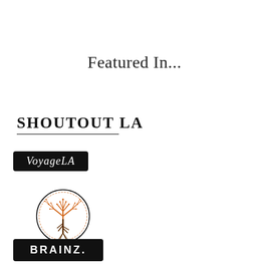Featured In...
[Figure (logo): ShoutOut LA logo — bold serif uppercase text with thin horizontal rule beneath]
[Figure (logo): VoyageLA logo — white italic text on black rounded rectangle badge]
[Figure (logo): All Things Therapy Podcast logo — circular badge with orange tree illustration, text below: ALL THINGS THERAPY PODCAST, www.404therapy.com]
[Figure (logo): BRAINZ. logo — white bold uppercase text on black rounded rectangle badge]